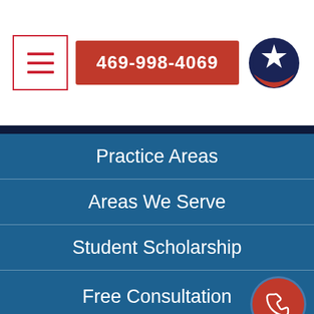[Figure (screenshot): Hamburger menu icon — three horizontal red lines inside a red-bordered square]
469-998-4069
[Figure (logo): Circular logo with white star on dark navy blue background]
Practice Areas
Areas We Serve
Student Scholarship
Free Consultation
[Figure (illustration): Red circle with white phone/handset icon (call button)]
[Figure (illustration): Dark circle with white accessibility (person) icon]